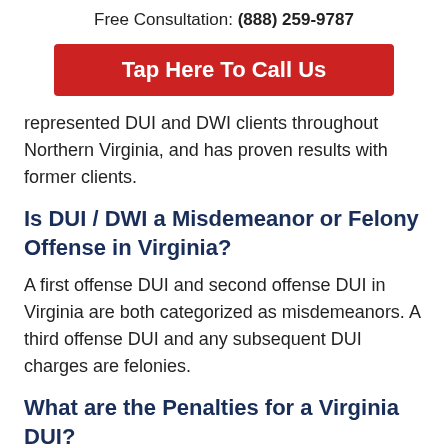Free Consultation: (888) 259-9787
[Figure (other): Red button with white text: Tap Here To Call Us]
represented DUI and DWI clients throughout Northern Virginia, and has proven results with former clients.
Is DUI / DWI a Misdemeanor or Felony Offense in Virginia?
A first offense DUI and second offense DUI in Virginia are both categorized as misdemeanors. A third offense DUI and any subsequent DUI charges are felonies.
What are the Penalties for a Virginia DUI?